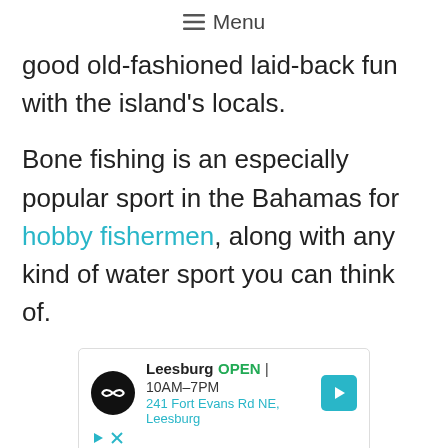≡ Menu
good old-fashioned laid-back fun with the island's locals.
Bone fishing is an especially popular sport in the Bahamas for hobby fishermen, along with any kind of water sport you can think of.
[Figure (other): Advertisement box showing Leesburg store location: OPEN 10AM–7PM, 241 Fort Evans Rd NE, Leesburg, with navigation icon and ad controls.]